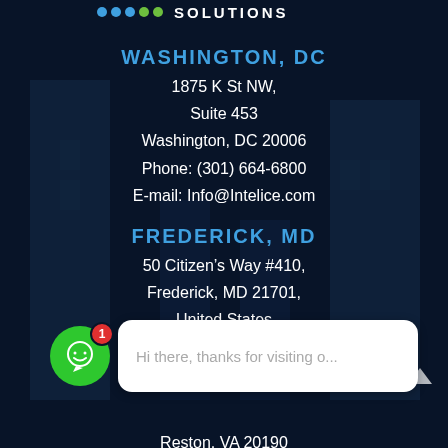[Figure (logo): Intelice Solutions logo with colored dots and SOLUTIONS text at top]
WASHINGTON, DC
1875 K St NW,
Suite 453
Washington, DC 20006
Phone: (301) 664-6800
E-mail: Info@Intelice.com
FREDERICK, MD
50 Citizen’s Way #410,
Frederick, MD 21701,
United States
RESTON, VA
Reston, VA 20190
[Figure (screenshot): Chat widget overlay with green smiley icon and red badge showing 1, with white bubble saying: Hi there, thanks for visiting o...]